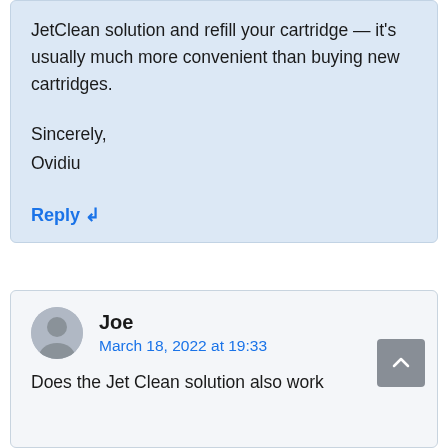JetClean solution and refill your cartridge — it's usually much more convenient than buying new cartridges.
Sincerely,
Ovidiu
Reply ↲
Joe
March 18, 2022 at 19:33
Does the Jet Clean solution also work